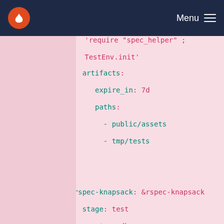Menu
[Figure (screenshot): Code snippet showing YAML CI configuration with line numbers 80-94, showing artifacts configuration and .rspec-knapsack anchor definition with stage, script, and export commands on a pink background]
'require "spec_helper" ;
TestEnv.init'
80  -   artifacts:
81  -     expire_in: 7d
82  -     paths:
83  -       - public/assets
84  -       - tmp/tests
85  -
86  -
87  - .rspec-knapsack: &rspec-knapsack
88  -   stage: test
89  -   <<: *use-db
90  -   script:
91  -     - JOB_NAME=( $CI_BUILD_NAME )
92  -     - export
CI_NODE_INDEX=${JOB_NAME[1]}
93  -     - export
CI_NODE_TOTAL=${JOB_NAME[2]}
94  -     - export
KNAPSACK_REPORT_PATH=knapsack/rspec_
node_${CI_NODE_INDEX}_${CI_NODE_TOTA